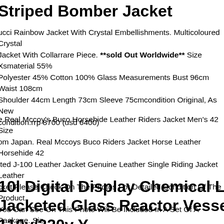Striped Bomber Jacket
ucci Rainbow Jacket With Crystal Embellishments. Multicoloured Crystal Jacket With Collarrare Piece. **sold Out Worldwide** Size Xsmaterial 55% Polyester 45% Cotton 100% Glass Measurements Bust 96cm Waist 108cm Shoulder 44cm Length 73cm Sleeve 75cmcondition Original, As New condition.rrp 8700 (usd 6400)
e Real Mccoy's Buco Horsehide Leather Riders Jacket Men's 42 Size om Japan. Real Mccoys Buco Riders Jacket Horse Leather Horsehide 42 tted J-100 Leather Jacket Genuine Leather Single Riding Jacket Leather cket Please Check On The Photos For Detailed Condition Of The Product. You Can See On This Photo Will Be Included In A Set Of A Package. Size otation 42 Length 63.5 Cm, Shoulder Width 47 Cm, Width 57 Cm, Sleeve ngth 65.5 Cm.
10l Digital Display Chemical Lab Jacketed Glass Reactor Vessel 110v/220v Y